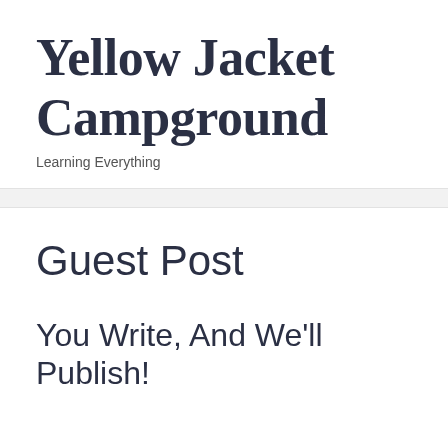Yellow Jacket Campground
Learning Everything
Guest Post
You Write, And We'll Publish!